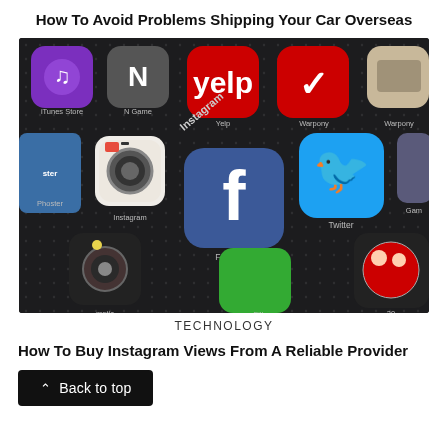How To Avoid Problems Shipping Your Car Overseas
[Figure (photo): Close-up photo of a smartphone screen showing various app icons including iTunes Store, Instagram, Yelp, Twitter, Facebook, Phoster, and other apps on a dark dotted background.]
TECHNOLOGY
How To Buy Instagram Views From A Reliable Provider
[Figure (screenshot): Black 'Back to top' button with upward arrow caret, overlaid on a partial photo below.]